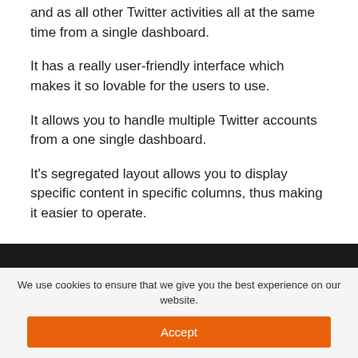and as all other Twitter activities all at the same time from a single dashboard.
It has a really user-friendly interface which makes it so lovable for the users to use.
It allows you to handle multiple Twitter accounts from a one single dashboard.
It’s segregated layout allows you to display specific content in specific columns, thus making it easier to operate.
We use cookies to ensure that we give you the best experience on our website.
Accept